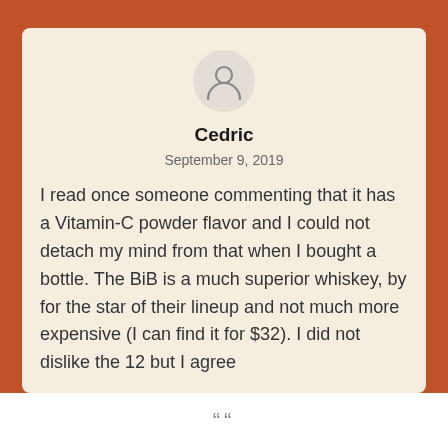[Figure (illustration): Generic user avatar icon (person silhouette) inside a light grey circle]
Cedric
September 9, 2019
I read once someone commenting that it has a Vitamin-C powder flavor and I could not detach my mind from that when I bought a bottle. The BiB is a much superior whiskey, by for the star of their lineup and not much more expensive (I can find it for $32). I did not dislike the 12 but I agree